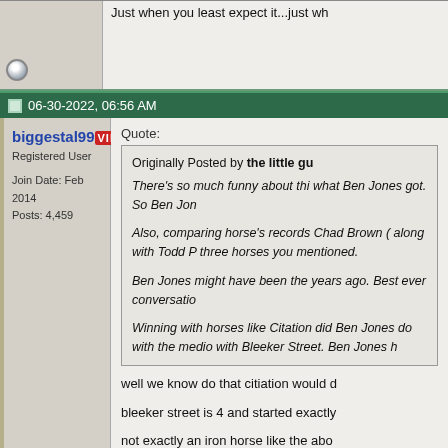Just when you least expect it...just wh
06-30-2022, 06:56 AM
biggestal99 VIP
Registered User
Join Date: Feb 2014
Posts: 4,459
Quote:
Originally Posted by the little gu
There's so much funny about thi what Ben Jones got. So Ben Jon

Also, comparing horse's records Chad Brown ( along with Todd P three horses you mentioned.

Ben Jones might have been the years ago. Best ever conversatio

Winning with horses like Citation did Ben Jones do with the medio with Bleeker Street. Ben Jones h
well we know do that citiation would d
bleeker street is 4 and started exactly
not exactly an iron horse like the abo